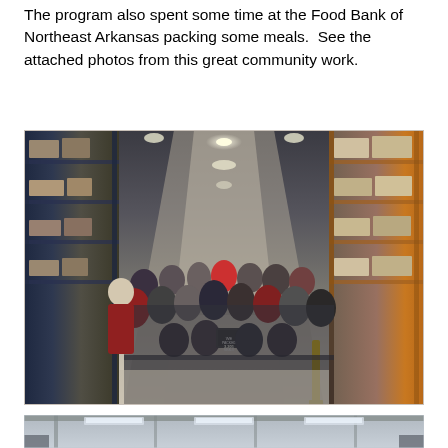The program also spent some time at the Food Bank of Northeast Arkansas packing some meals.  See the attached photos from this great community work.
[Figure (photo): Group photo of approximately 20-25 students and adults wearing face masks standing inside a warehouse facility (Food Bank of Northeast Arkansas). Tall blue metal shelving racks with boxes on both sides. One person in the front center holds a chalkboard sign reading 'WE PACKED 3,201 MEALS'. The group spans the width of the warehouse aisle with concrete floors visible.]
[Figure (photo): Partial view of the interior of the Food Bank warehouse, showing the ceiling with fluorescent lighting and what appears to be shelving or refrigeration units. Only the top portion of this second photo is visible at the bottom of the page.]